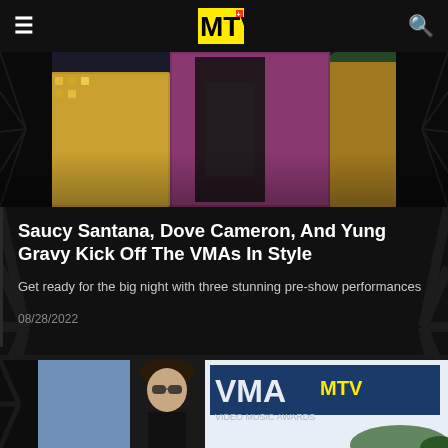MTV
[Figure (photo): A performer on stage at the VMAs pre-show, wearing a black lace bodysuit, with gold and pink sequined backdrop panels visible behind them. Dark fan/starburst decorative patterns on the sides.]
Saucy Santana, Dove Cameron, And Yung Gravy Kick Off The VMAs In Style
Get ready for the big night with three stunning pre-show performances
08/28/2022
[Figure (photo): A young man with curly hair wearing round sunglasses and a dark turtleneck, standing in front of the MTV Video Music Awards VMA logo backdrop in blue and white.]